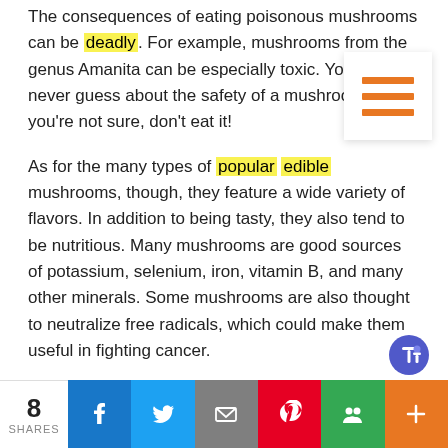The consequences of eating poisonous mushrooms can be deadly. For example, mushrooms from the genus Amanita can be especially toxic. You should never guess about the safety of a mushroom. If you're not sure, don't eat it!
[Figure (other): Hamburger menu icon with three orange horizontal bars on white background]
As for the many types of popular edible mushrooms, though, they feature a wide variety of flavors. In addition to being tasty, they also tend to be nutritious. Many mushrooms are good sources of potassium, selenium, iron, vitamin B, and many other minerals. Some mushrooms are also thought to neutralize free radicals, which could make them useful in fighting cancer.
[Figure (logo): Microsoft Teams purple logo icon]
8 SHARES | Facebook | Twitter | Email | Pinterest | Google+ | More